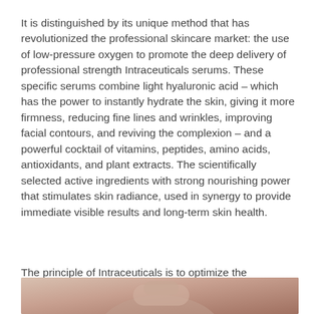It is distinguished by its unique method that has revolutionized the professional skincare market: the use of low-pressure oxygen to promote the deep delivery of professional strength Intraceuticals serums. These specific serums combine light hyaluronic acid – which has the power to instantly hydrate the skin, giving it more firmness, reducing fine lines and wrinkles, improving facial contours, and reviving the complexion – and a powerful cocktail of vitamins, peptides, amino acids, antioxidants, and plant extracts. The scientifically selected active ingredients with strong nourishing power that stimulates skin radiance, used in synergy to provide immediate visible results and long-term skin health.
The principle of Intraceuticals is to optimize the performance of its products by using only what the skin needs. Made in Australia, treatments, and products are paraben-free and cruelty-free.
[Figure (photo): Close-up photo of a skincare device or applicator with warm beige/cream tones, partially visible at the bottom of the page.]